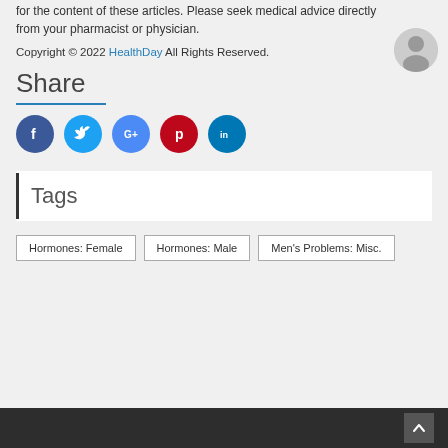for the content of these articles. Please seek medical advice directly from your pharmacist or physician.
Copyright © 2022 HealthDay All Rights Reserved.
Share
[Figure (infographic): Social media share icons: Facebook, Twitter, Google+, Pinterest, LinkedIn]
Tags
Hormones: Female
Hormones: Male
Men's Problems: Misc.
Back to top button